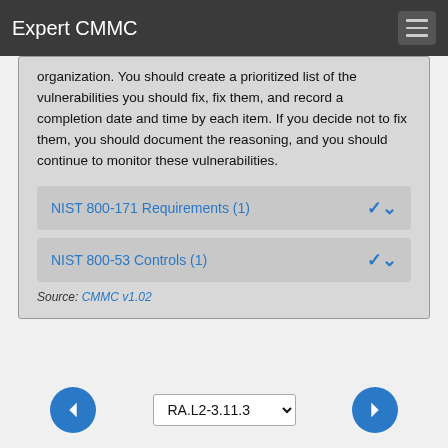Expert CMMC
organization. You should create a prioritized list of the vulnerabilities you should fix, fix them, and record a completion date and time by each item. If you decide not to fix them, you should document the reasoning, and you should continue to monitor these vulnerabilities.
NIST 800-171 Requirements (1)
NIST 800-53 Controls (1)
Source: CMMC v1.02
RA.L2-3.11.3